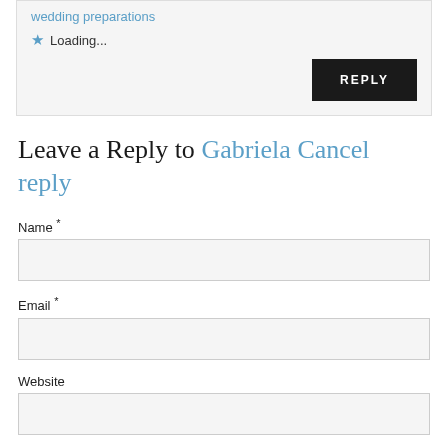wedding preparations
★ Loading...
REPLY
Leave a Reply to Gabriela Cancel reply
Name *
Email *
Website